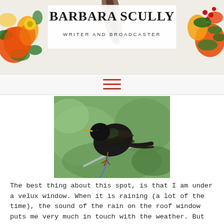BARBARA SCULLY
WRITER AND BROADCASTER
[Figure (screenshot): Hamburger/menu navigation icon with three orange-red horizontal lines]
[Figure (photo): Close-up photo of a starling bird perched on a metal wire or stand, with green blurred background]
The best thing about this spot, is that I am under a velux window. When it is raining (a lot of the time), the sound of the rain on the roof window puts me very much in touch with the weather. But even better than that, is the fact the Mrs and Mrs Starling